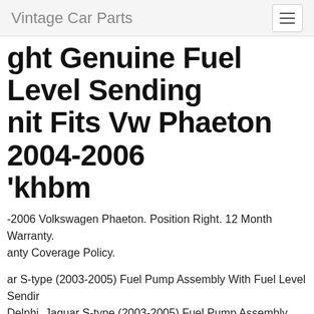Vintage Car Parts
ght Genuine Fuel Level Sending Unit Fits Vw Phaeton 2004-2006 'khbm
-2006 Volkswagen Phaeton. Position Right. 12 Month Warranty. anty Coverage Policy.
ar S-type (2003-2005) Fuel Pump Assembly With Fuel Level Sendir Delphi. Jaguar S-type (2003-2005) Fuel Pump Assembly With Fuel l Sending Unit Delphi Technologies Oem + 1 Year Warranty. Made E hi Technologies Oem. Fuel Pump Assembly With Fuel Level Sendin Jaguar Part # Xr849199.
Level Sending Unit For 1978-1988 Porsche 928 1982 1979 1983 1s 'rx. 1978-1988 Porsche 928. Notes Fuel Level Sending Unit -- There at Lock Pin Installed By The Manufacturer To Protect The Unit Durir sport. This Pin Must Be Removed Before Installation. 12 Month anty.